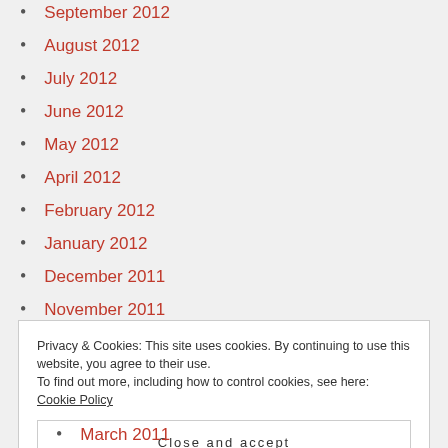September 2012
August 2012
July 2012
June 2012
May 2012
April 2012
February 2012
January 2012
December 2011
November 2011
October 2011
August 2011
Privacy & Cookies: This site uses cookies. By continuing to use this website, you agree to their use. To find out more, including how to control cookies, see here: Cookie Policy
Close and accept
March 2011